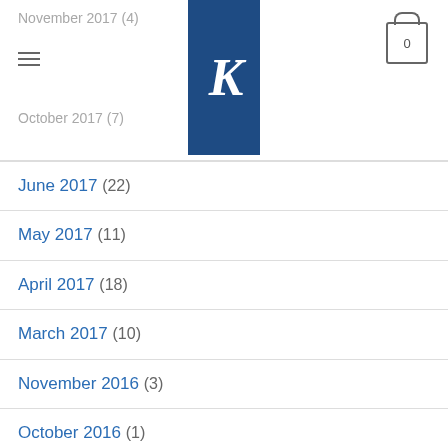November 2017 (4)
October 2017 (7)
June 2017 (22)
May 2017 (11)
April 2017 (18)
March 2017 (10)
November 2016 (3)
October 2016 (1)
September 2016 (13)
November 2015 (2)
October 2015 (7)
September 2015 (9)